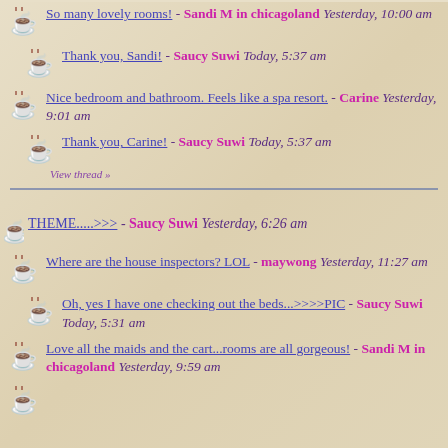So many lovely rooms! - Sandi M in chicagoland Yesterday, 10:00 am
Thank you, Sandi! - Saucy Suwi Today, 5:37 am
Nice bedroom and bathroom. Feels like a spa resort. - Carine Yesterday, 9:01 am
Thank you, Carine! - Saucy Suwi Today, 5:37 am
View thread »
THEME.....>>> - Saucy Suwi Yesterday, 6:26 am
Where are the house inspectors? LOL - maywong Yesterday, 11:27 am
Oh, yes I have one checking out the beds...>>>>PIC - Saucy Suwi Today, 5:31 am
Love all the maids and the cart...rooms are all gorgeous! - Sandi M in chicagoland Yesterday, 9:59 am